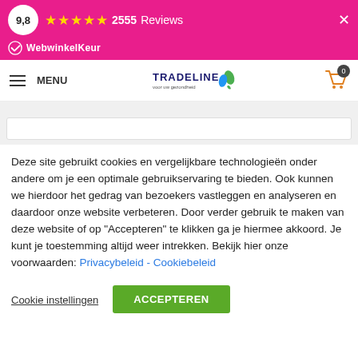9,8 ★★★★★ 2555 Reviews × WebwinkelKeur
[Figure (logo): Tradeline logo with green leaf/water icon and text 'voor uw gezondheid']
Deze site gebruikt cookies en vergelijkbare technologieën onder andere om je een optimale gebruikservaring te bieden. Ook kunnen we hierdoor het gedrag van bezoekers vastleggen en analyseren en daardoor onze website verbeteren. Door verder gebruik te maken van deze website of op "Accepteren" te klikken ga je hiermee akkoord. Je kunt je toestemming altijd weer intrekken. Bekijk hier onze voorwaarden: Privacybeleid - Cookiebeleid
Cookie instellingen
ACCEPTEREN